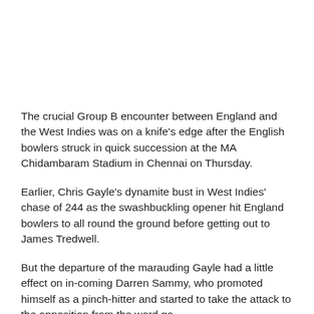The crucial Group B encounter between England and the West Indies was on a knife's edge after the English bowlers struck in quick succession at the MA Chidambaram Stadium in Chennai on Thursday.
Earlier, Chris Gayle's dynamite bust in West Indies' chase of 244 as the swashbuckling opener hit England bowlers to all round the ground before getting out to James Tredwell.
But the departure of the marauding Gayle had a little effect on in-coming Darren Sammy, who promoted himself as a pinch-hitter and started to take the attack to the opposition from the word go.
It could also be considered a tactical move by the West Indies team